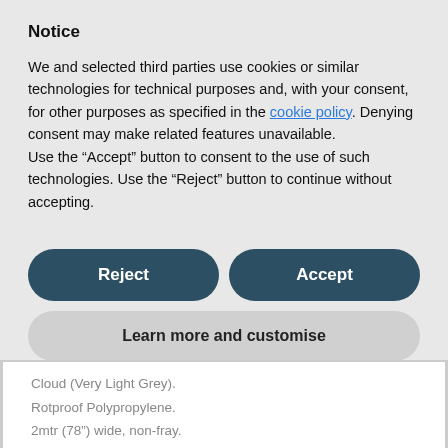Notice
We and selected third parties use cookies or similar technologies for technical purposes and, with your consent, for other purposes as specified in the cookie policy. Denying consent may make related features unavailable.
Use the “Accept” button to consent to the use of such technologies. Use the “Reject” button to continue without accepting.
Reject | Accept
Learn more and customise
Cloud (Very Light Grey).
Rotproof Polypropylene.
2mtr (78”) wide, non-fray.
Narrow 3mm (1/8”) ribs running for length of the roll.
Thin and pliable.